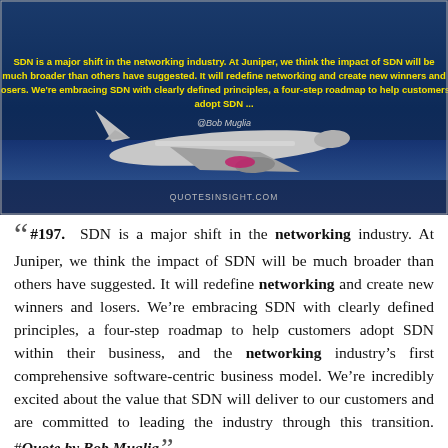[Figure (photo): Dark blue sky background with an airplane, overlaid with yellow bold text quoting Bob Muglia about SDN and networking industry. Attribution '@Bob Muglia' and website 'QUOTESINSIGHT.COM' shown.]
“ #197. SDN is a major shift in the networking industry. At Juniper, we think the impact of SDN will be much broader than others have suggested. It will redefine networking and create new winners and losers. We’re embracing SDN with clearly defined principles, a four-step roadmap to help customers adopt SDN within their business, and the networking industry’s first comprehensive software-centric business model. We’re incredibly excited about the value that SDN will deliver to our customers and are committed to leading the industry through this transition. #Quote by Bob Muglia ”